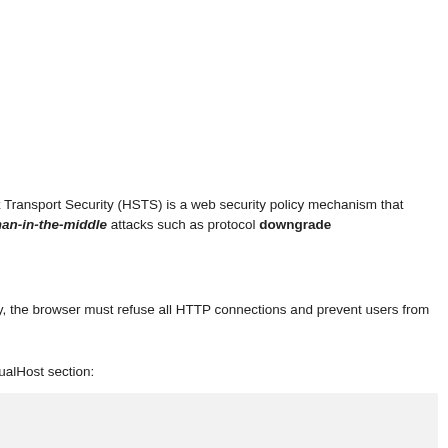ct Transport Security (HSTS) is a web security policy mechanism that man-in-the-middle attacks such as protocol downgrade
cy, the browser must refuse all HTTP connections and prevent users from s.
rtualHost section:
nsport-Security "max-age=31536000; includeSubDomains"